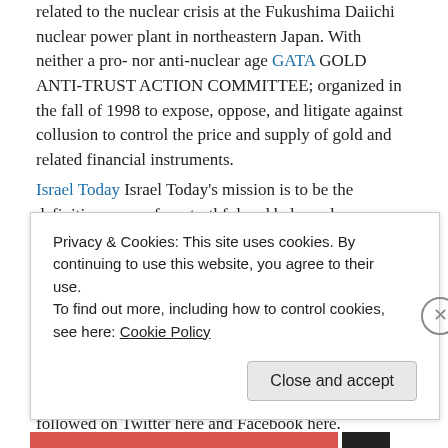related to the nuclear crisis at the Fukushima Daiichi nuclear power plant in northeastern Japan. With neither a pro- nor anti-nuclear age GATA GOLD ANTI-TRUST ACTION COMMITTEE; organized in the fall of 1998 to expose, oppose, and litigate against collusion to control the price and supply of gold and related financial instruments.
Israel Today Israel Today’s mission is to be the definitive source for a truthful and balanced perspective on Israel and to provide timely news directly from Jerusalem – the focus of world attention.
justia.com Research the Laws and court cases
Land Destroyer Report The Land Destroyer Report is maintained by Tony Cartalucci, an American geopolitical analyst based in Bangkok, Thailand. Land Destroyer is mirrored on WordPress here. We can be followed on Twitter here and Facebook here. Comments, questions,
Privacy & Cookies: This site uses cookies. By continuing to use this website, you agree to their use.
To find out more, including how to control cookies, see here: Cookie Policy